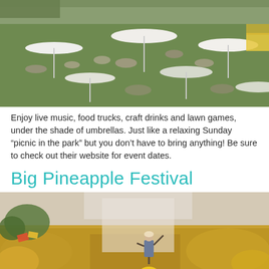[Figure (photo): Aerial view of an outdoor event with white umbrellas, people sitting on green grass, enjoying a sunny day]
Enjoy live music, food trucks, craft drinks and lawn games, under the shade of umbrellas. Just like a relaxing Sunday “picnic in the park” but you don’t have to bring anything! Be sure to check out their website for event dates.
Big Pineapple Festival
[Figure (photo): A performer on stage with arms raised in front of a large crowd at the Big Pineapple Festival, crowd wearing yellow]